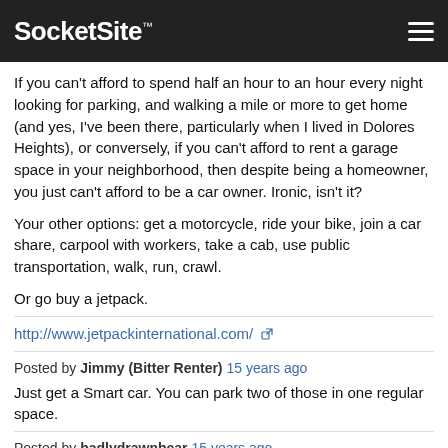SocketSite™
If you can't afford to spend half an hour to an hour every night looking for parking, and walking a mile or more to get home (and yes, I've been there, particularly when I lived in Dolores Heights), or conversely, if you can't afford to rent a garage space in your neighborhood, then despite being a homeowner, you just can't afford to be a car owner. Ironic, isn't it?

Your other options: get a motorcycle, ride your bike, join a car share, carpool with workers, take a cab, use public transportation, walk, run, crawl.

Or go buy a jetpack.
http://www.jetpackinternational.com/
Posted by Jimmy (Bitter Renter) 15 years ago
Just get a Smart car. You can park two of those in one regular space.
Posted by badlydrawnbear 15 years ago
I know it's waaaaay to late to do anything about this in SF, but Chicago solved this problem through the use of alleys through out